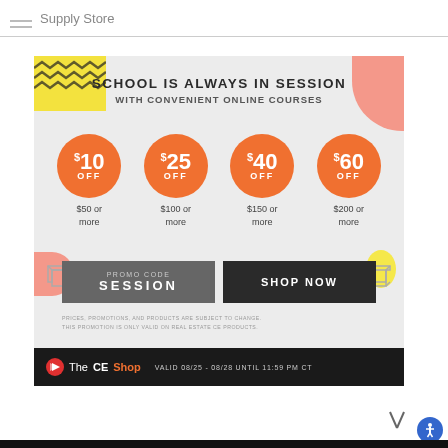Supply Store
[Figure (infographic): The CE Shop advertisement: School is always in session with convenient online courses. Four orange circles showing discount tiers: $10 OFF on $50 or more, $25 OFF on $100 or more, $40 OFF on $150 or more, $60 OFF on $200 or more. Promo code SESSION. Shop Now button. Footer: The CE Shop. Valid 08/25 - 08/28 until 11:59 PM CT.]